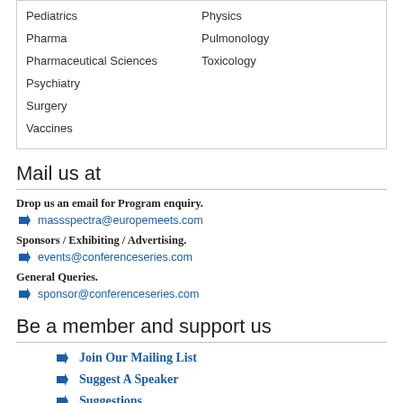Pediatrics
Pharma
Pharmaceutical Sciences
Psychiatry
Surgery
Vaccines
Physics
Pulmonology
Toxicology
Mail us at
Drop us an email for Program enquiry.
massspectra@europemeets.com
Sponsors / Exhibiting / Advertising.
events@conferenceseries.com
General Queries.
sponsor@conferenceseries.com
Be a member and support us
Join Our Mailing List
Suggest A Speaker
Suggestions